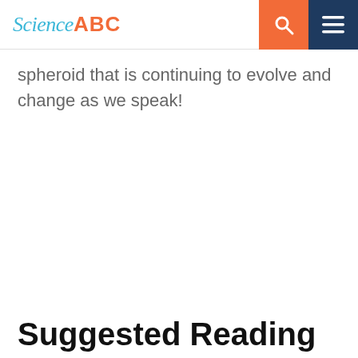Science ABC
spheroid that is continuing to evolve and change as we speak!
Suggested Reading